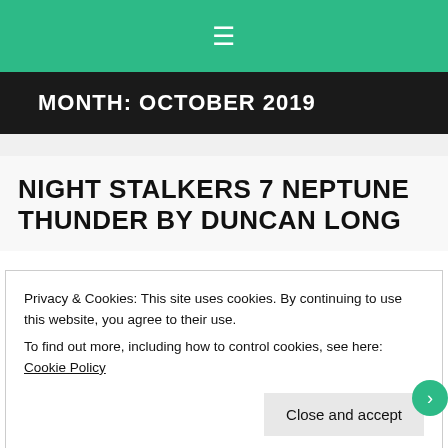☰
MONTH: OCTOBER 2019
NIGHT STALKERS 7 NEPTUNE THUNDER BY DUNCAN LONG
Privacy & Cookies: This site uses cookies. By continuing to use this website, you agree to their use.
To find out more, including how to control cookies, see here: Cookie Policy
Close and accept